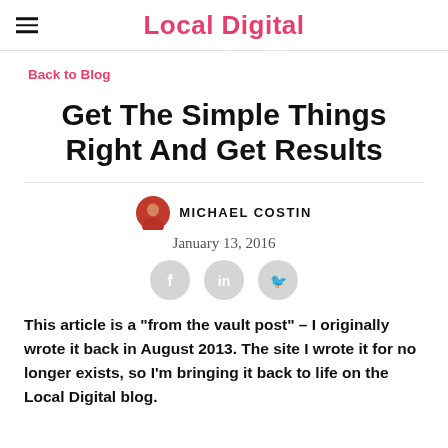Local Digital
Back to Blog
Get The Simple Things Right And Get Results
MICHAEL COSTIN
January 13, 2016
This article is a "from the vault post" – I originally wrote it back in August 2013. The site I wrote it for no longer exists, so I'm bringing it back to life on the Local Digital blog.